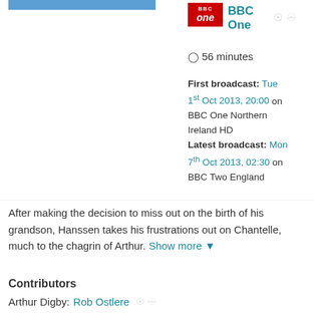[Figure (photo): Partial photo of a person in blue at top left]
[Figure (logo): BBC One logo (red background, white text)]
BBC One
56 minutes
First broadcast: Tue 1st Oct 2013, 20:00 on BBC One Northern Ireland HD
Latest broadcast: Mon 7th Oct 2013, 02:30 on BBC Two England
After making the decision to miss out on the birth of his grandson, Hanssen takes his frustrations out on Chantelle, much to the chagrin of Arthur. Show more ▼
Contributors
Arthur Digby: Rob Ostlere